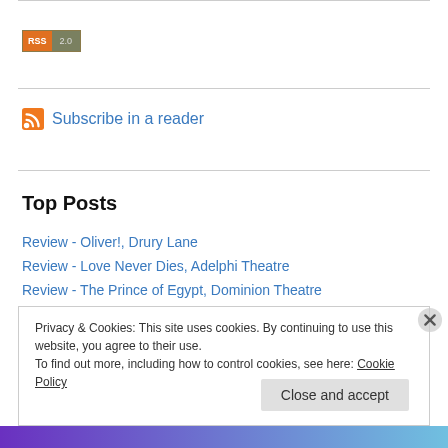[Figure (logo): RSS 2.0 badge button with orange RSS label and gray-green 2.0 text]
Subscribe in a reader
Top Posts
Review - Oliver!, Drury Lane
Review - Love Never Dies, Adelphi Theatre
Review - The Prince of Egypt, Dominion Theatre
Privacy & Cookies: This site uses cookies. By continuing to use this website, you agree to their use.
To find out more, including how to control cookies, see here: Cookie Policy

Close and accept